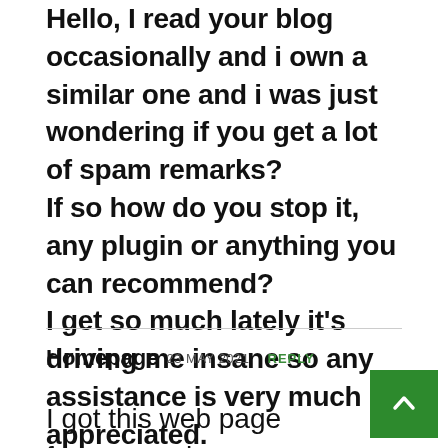Hello, I read your blog occasionally and i own a similar one and i was just wondering if you get a lot of spam remarks? If so how do you stop it, any plugin or anything you can recommend? I get so much lately it’s driving me insane so any assistance is very much appreciated.
Homepage 23 MAY 2021 REPLY
I got this web page from my pal